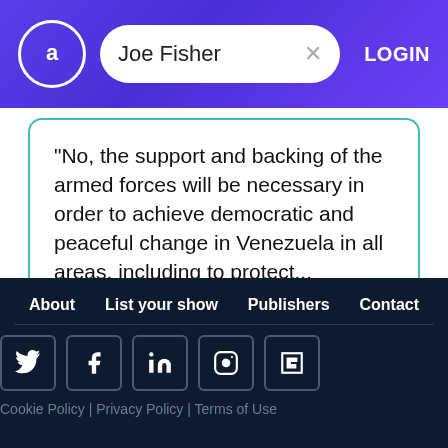Joe Fisher
"No, the support and backing of the armed forces will be necessary in order to achieve democratic and peaceful change in Venezuela in all areas, including to protect...
Mr. Maduro
president
Istanbul
About | List your show | Publishers | Contact | Cookie Policy | Privacy Policy | Terms of Use